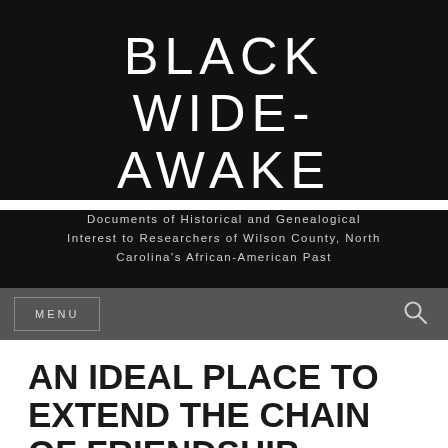BLACK WIDE-AWAKE
Documents of Historical and Genealogical Interest to Researchers of Wilson County, North Carolina's African-American Past
MENU
AN IDEAL PLACE TO EXTEND THE CHAIN OF FRIENDSHIP.
From a history of the Southern Area Region of Links, Inc.,
"The Southern Area of The Links, Incorporated came into existence